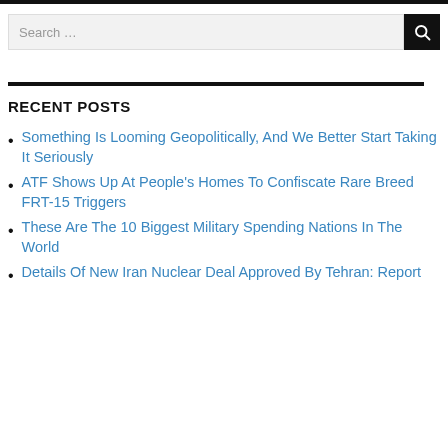[Figure (other): Search bar with text input field labeled 'Search ...' and a black button with a magnifying glass icon]
RECENT POSTS
Something Is Looming Geopolitically, And We Better Start Taking It Seriously
ATF Shows Up At People's Homes To Confiscate Rare Breed FRT-15 Triggers
These Are The 10 Biggest Military Spending Nations In The World
Details Of New Iran Nuclear Deal Approved By Tehran: Report